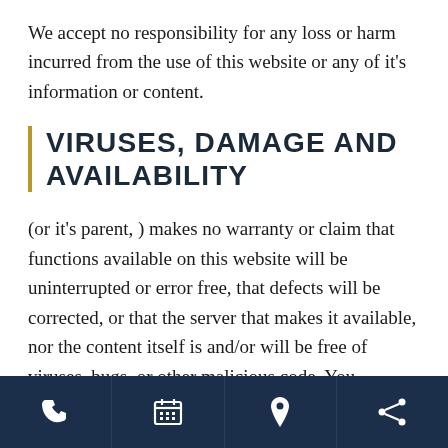We accept no responsibility for any loss or harm incurred from the use of this website or any of it's information or content.
VIRUSES, DAMAGE AND AVAILABILITY
(or it's parent, ) makes no warranty or claim that functions available on this website will be uninterrupted or error free, that defects will be corrected, or that the server that makes it available, nor the content itself is and/or will be free of viruses, bugs, or other malicious code. You acknowledge that it is your responsibility to implement sufficient
[phone] [calendar] [location] [share]